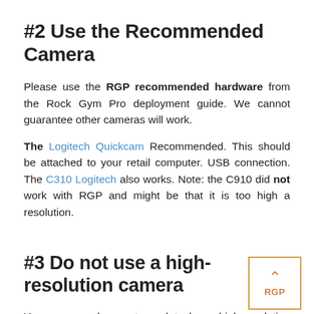#2 Use the Recommended Camera
Please use the RGP recommended hardware from the Rock Gym Pro deployment guide.  We cannot guarantee other cameras will work.
The Logitech Quickcam Recommended. This should be attached to your retail computer. USB connection. The C310 Logitech also works. Note: the C910 did not work with RGP and might be that it is too high a resolution.
#3 Do not use a high-resolution camera
Your camera does not need to be a high-resolution camera, and the higher the resolution the larger your RGP offsite backup becomes which will take longer to transfer